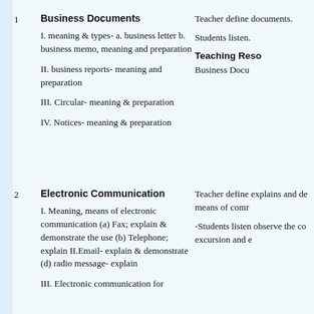1   Business Documents
I. meaning & types- a. business letter b. business memo, meaning and preparation
II. business reports- meaning and preparation
III. Circular- meaning & preparation
IV. Notices- meaning & preparation
Teacher define documents. Students listen. Teaching Resources Business Documents
2   Electronic Communication
I. Meaning, means of electronic communication (a) Fax; explain & demonstrate the use (b) Telephone; explain II.Email- explain & demonstrate (d) radio message- explain
III. Electronic communication for
Teacher define explains and de means of comr -Students listen observe the co excursion and e